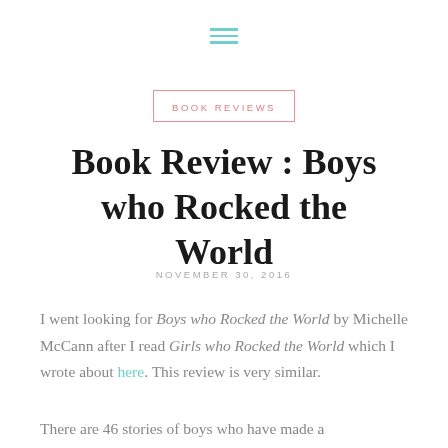[Figure (other): Hamburger menu icon with three horizontal teal/cyan lines]
BOOK REVIEWS
Book Review : Boys who Rocked the World
NOVEMBER 30, 2016
I went looking for Boys who Rocked the World by Michelle McCann after I read Girls who Rocked the World which I wrote about here. This review is very similar.
There are 46 stories of boys who have made a